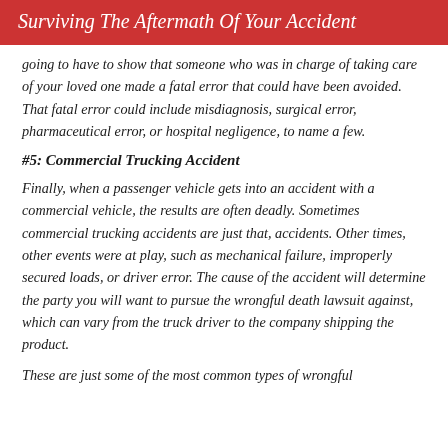Surviving The Aftermath Of Your Accident
going to have to show that someone who was in charge of taking care of your loved one made a fatal error that could have been avoided. That fatal error could include misdiagnosis, surgical error, pharmaceutical error, or hospital negligence, to name a few.
#5: Commercial Trucking Accident
Finally, when a passenger vehicle gets into an accident with a commercial vehicle, the results are often deadly. Sometimes commercial trucking accidents are just that, accidents. Other times, other events were at play, such as mechanical failure, improperly secured loads, or driver error. The cause of the accident will determine the party you will want to pursue the wrongful death lawsuit against, which can vary from the truck driver to the company shipping the product.
These are just some of the most common types of wrongful